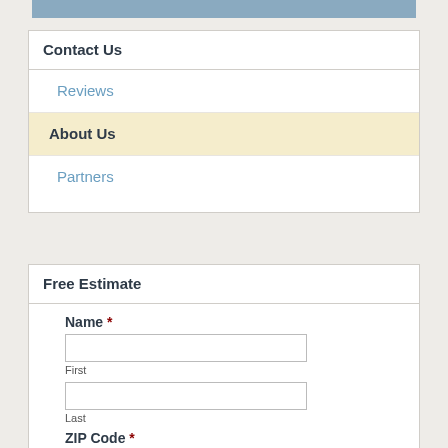[Figure (other): Blue banner/header bar at top]
Contact Us
Reviews
About Us
Partners
Free Estimate
Name * First Last ZIP Code *